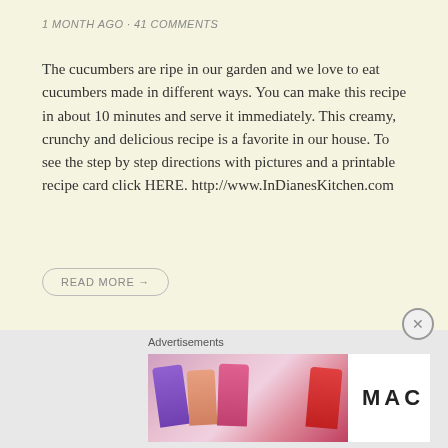1 MONTH AGO · 41 COMMENTS
The cucumbers are ripe in our garden and we love to eat cucumbers made in different ways. You can make this recipe in about 10 minutes and serve it immediately. This creamy, crunchy and delicious recipe is a favorite in our house. To see the step by step directions with pictures and a printable recipe card click HERE. http://www.InDianesKitchen.com
READ MORE →
AIR FRYER
Air Fryer Onion Rings
[Figure (photo): Partial view of a plate of food, likely onion rings, with decorative blue plate pattern visible]
Advertisements
[Figure (photo): MAC cosmetics advertisement showing colorful lipsticks with MAC logo and SHOP NOW button]